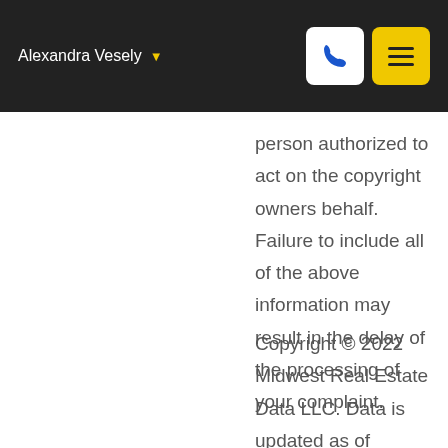Alexandra Vesely
person authorized to act on the copyright owners behalf. Failure to include all of the above information may result in the delay of the processing of your complaint.
Copyright © 2022 Midwest Real Estate Data LLC. Data is updated as of August 24, 2022 10:10 PM UTC